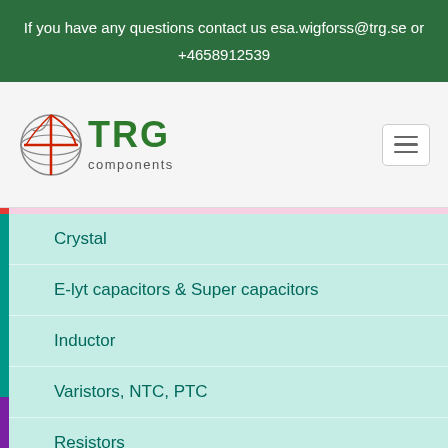If you have any questions contact us esa.wigforss@trg.se or +4658912539
[Figure (logo): TRG components logo with globe icon]
Crystal
E-lyt capacitors & Super capacitors
Inductor
Varistors, NTC, PTC
Resistors
Cables
Enclosures